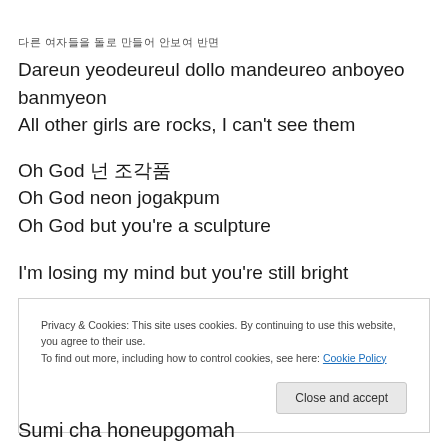다른 여자들을 돌로 만들어 안보여 반면
Dareun yeodeureul dollo mandeureо anboyeo banmyeon
All other girls are rocks, I can't see them
Oh God 넌 조각품
Oh God neon jogakpum
Oh God but you're a sculpture
I'm losing my mind but you're still bright
Privacy & Cookies: This site uses cookies. By continuing to use this website, you agree to their use. To find out more, including how to control cookies, see here: Cookie Policy
Close and accept
Sumi cha honeupgomah